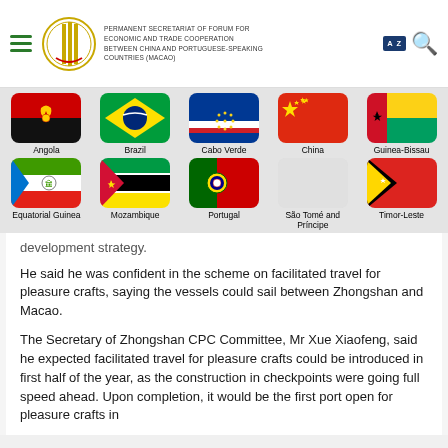Permanent Secretariat of Forum for Economic and Trade Cooperation between China and Portuguese-speaking Countries (Macao)
[Figure (illustration): Navigation bar with flag icons for 10 countries: Angola, Brazil, Cabo Verde, China, Guinea-Bissau, Equatorial Guinea, Mozambique, Portugal, São Tomé and Príncipe, Timor-Leste]
development strategy.
He said he was confident in the scheme on facilitated travel for pleasure crafts, saying the vessels could sail between Zhongshan and Macao.
The Secretary of Zhongshan CPC Committee, Mr Xue Xiaofeng, said he expected facilitated travel for pleasure crafts could be introduced in first half of the year, as the construction in checkpoints were going full speed ahead. Upon completion, it would be the first port open for pleasure crafts in